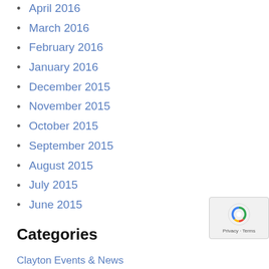April 2016
March 2016
February 2016
January 2016
December 2015
November 2015
October 2015
September 2015
August 2015
July 2015
June 2015
Categories
Clayton Events & News